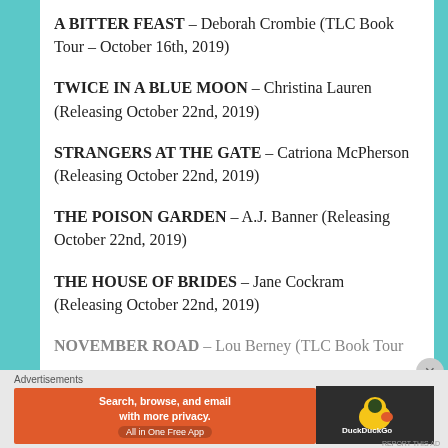A BITTER FEAST – Deborah Crombie (TLC Book Tour – October 16th, 2019)
TWICE IN A BLUE MOON – Christina Lauren (Releasing October 22nd, 2019)
STRANGERS AT THE GATE – Catriona McPherson (Releasing October 22nd, 2019)
THE POISON GARDEN – A.J. Banner (Releasing October 22nd, 2019)
THE HOUSE OF BRIDES – Jane Cockram (Releasing October 22nd, 2019)
NOVEMBER ROAD – Lou Berney (TLC Book Tour…
Advertisements
[Figure (infographic): DuckDuckGo advertisement banner: orange background with text 'Search, browse, and email with more privacy. All in One Free App' and DuckDuckGo logo on dark background.]